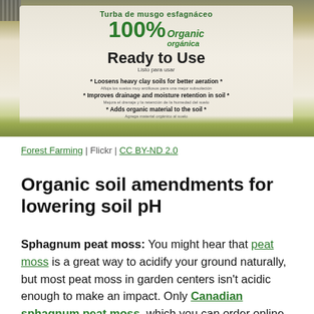[Figure (photo): A bag of sphagnum peat moss product showing '100% Organic, Ready to Use' label with yellow circular icons, photographed outdoors on grass]
Forest Farming | Flickr | CC BY-ND 2.0
Organic soil amendments for lowering soil pH
Sphagnum peat moss: You might hear that peat moss is a great way to acidify your ground naturally, but most peat moss in garden centers isn't acidic enough to make an impact. Only Canadian sphagnum peat moss, which you can order online, has a low